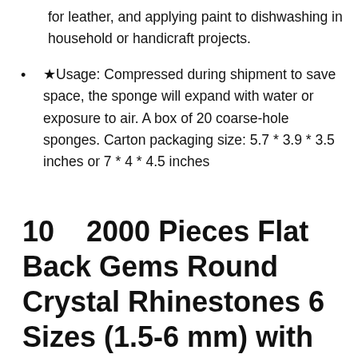for leather, and applying paint to dishwashing in household or handicraft projects.
★Usage: Compressed during shipment to save space, the sponge will expand with water or exposure to air. A box of 20 coarse-hole sponges. Carton packaging size: 5.7 * 3.9 * 3.5 inches or 7 * 4 * 4.5 inches
10   2000 Pieces Flat Back Gems Round Crystal Rhinestones 6 Sizes (1.5-6 mm) with Pick Up Tweezer and Rhinestones Picking Pen for Crafts Nail Face Art Clothes